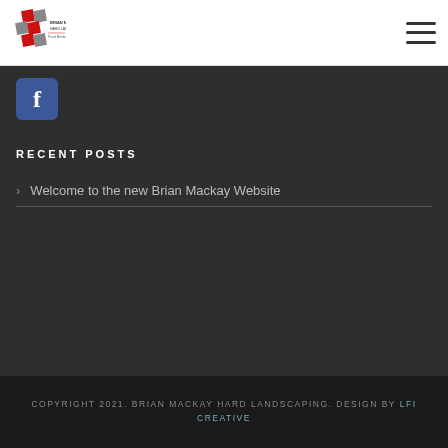[Figure (logo): Brian Mackay Hard Landscaping logo with red hexagonal/diamond pattern and company name]
[Figure (other): Hamburger menu icon (three horizontal lines) in top right corner]
[Figure (other): Facebook social media icon button (blue square with white 'f')]
RECENT POSTS
Welcome to the new Brian Mackay Website
COPYRIGHT 2021. BRIAN MACKAY HARD LANDSCAPING. DESIGN BY LFI CREATIVE